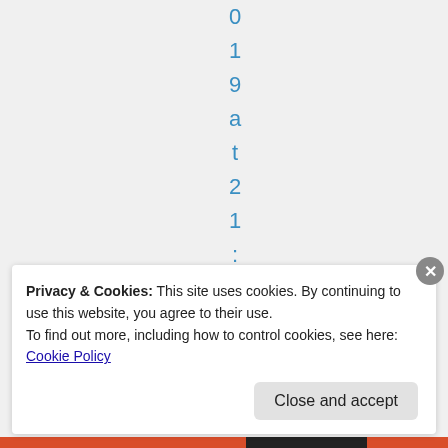0 1 9 a t 2 1 : 0 6
[Figure (other): Thumbs up and thumbs down emoji icons with parenthesis]
Privacy & Cookies: This site uses cookies. By continuing to use this website, you agree to their use. To find out more, including how to control cookies, see here: Cookie Policy
Close and accept